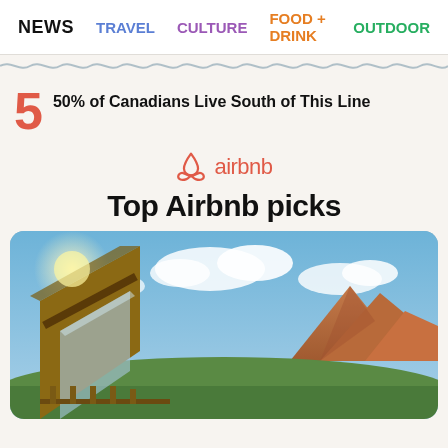NEWS  TRAVEL  CULTURE  FOOD + DRINK  OUTDOOR
[Figure (other): Decorative wavy line divider]
5  50% of Canadians Live South of This Line
[Figure (logo): Airbnb logo with airbnb wordmark in coral/red color]
Top Airbnb picks
[Figure (photo): A-frame cabin with large glass windows and wooden structure, red rock mountain landscape in background, blue sky with clouds — likely Zion National Park area]